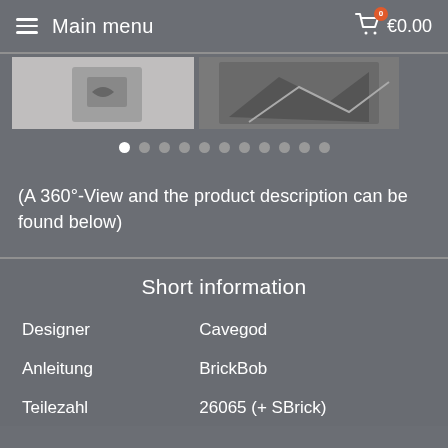Main menu   €0.00
[Figure (photo): Product images strip showing two partial images of a product, with carousel dot indicators below]
(A 360°-View and the product description can be found below)
Short information
| Designer | Cavegod |
| Anleitung | BrickBob |
| Teilezahl | 26065 (+ SBrick) |